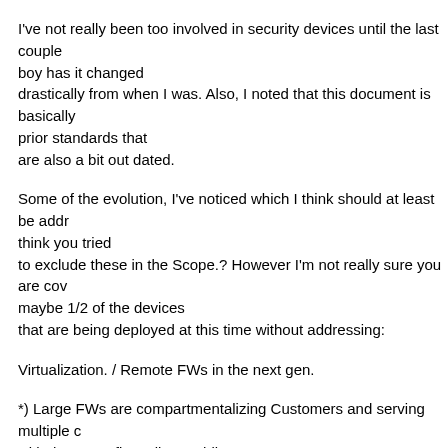I've not really been too involved in security devices until the last couple years, boy has it changed drastically from when I was. Also, I noted that this document is basically referencing prior standards that are also a bit out dated.
Some of the evolution, I've noticed which I think should at least be addressed. I think you tried to exclude these in the Scope.? However I'm not really sure you are covering maybe 1/2 of the devices that are being deployed at this time without addressing:
Virtualization. / Remote FWs in the next gen.
*) Large FWs are compartmentalizing Customers and serving multiple customers with the same firewall. So while you have said what would happen to a customer when The Firewall is Under test, you don't really address what's going on with all the other customers on this DUT. If there are 10 Customers going through 1 large FW, what are the other 9 experiencing when this is under Test. Would be interesting to have parallel tests underway